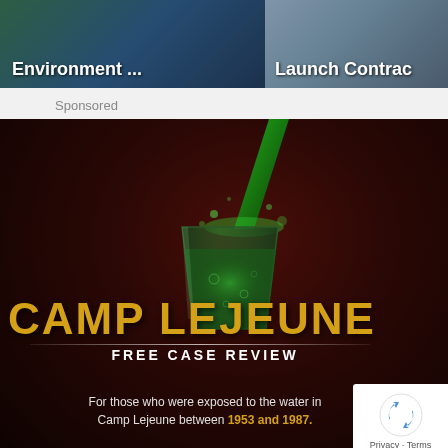[Figure (screenshot): Two thumbnail images side by side: left shows 'Environment ...' with dark green/blue tech imagery, right shows 'Launch Contrac' with industrial/mechanical imagery]
Sponsored
[Figure (photo): Camp Lejeune advertisement showing a glass of green liquid being poured, with text 'CAMP LEJEUNE FREE CASE REVIEW' and caption 'For those who were exposed to the water in Camp Lejeune between 1953 and 1987.' reCAPTCHA privacy badge visible in lower right corner.]